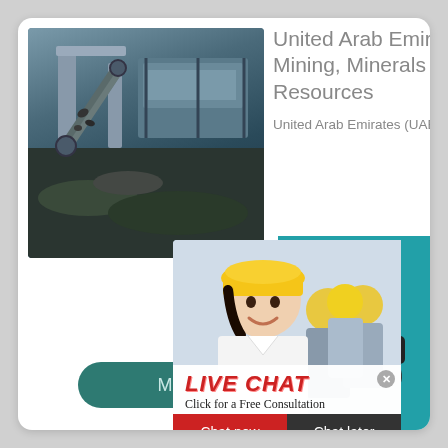United Arab Emirates: Mining, Minerals and Fuel Resources
United Arab Emirates (UAE) is a part
[Figure (photo): Mining conveyor equipment with rocks and machinery]
[Figure (photo): Worker in yellow hard hat smiling with coworkers behind her, live chat popup overlay showing LIVE CHAT - Click for a Free Consultation, Chat now and Chat later buttons]
the country is 83,600 a population of 5,314 2012.
More
7 hours online
Click me to chat >>
Enquiry
superbrian707@gr